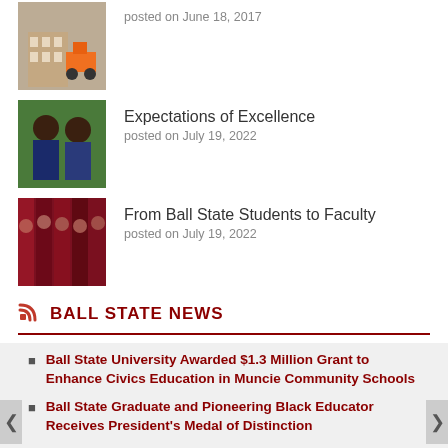posted on June 18, 2017
[Figure (photo): Construction scene with orange equipment and brick building]
[Figure (photo): Two men in suits smiling outdoors]
Expectations of Excellence
posted on July 19, 2022
[Figure (photo): Collage of red-tinted portrait photos arranged in vertical strips]
From Ball State Students to Faculty
posted on July 19, 2022
BALL STATE NEWS
Ball State University Awarded $1.3 Million Grant to Enhance Civics Education in Muncie Community Schools
Ball State Graduate and Pioneering Black Educator Receives President's Medal of Distinction
NCAA Postgraduate Scholarship Awarded to Ball State University Graduate Student, Former Student-Athlete